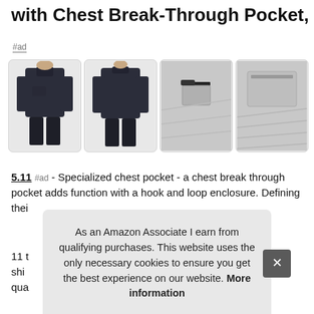with Chest Break-Through Pocket, EMT
#ad
[Figure (photo): Four product thumbnail images of a tactical fleece pullover: front view (dark navy), back view (dark navy), detail of chest pocket (grey), and close-up of chest pocket area (grey)]
5.11 #ad - Specialized chest pocket - a chest break through pocket adds function with a hook and loop enclosure. Defining thei...
11 t... shi... qua...
As an Amazon Associate I earn from qualifying purchases. This website uses the only necessary cookies to ensure you get the best experience on our website. More information